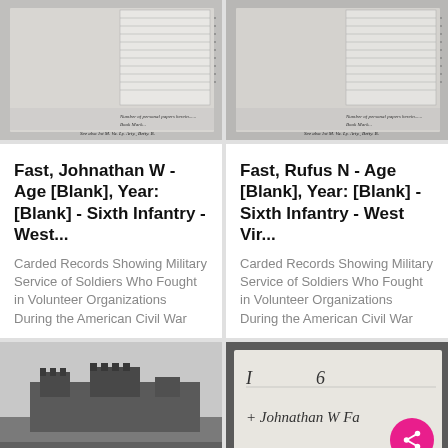[Figure (photo): Scanned historical military document card with lined form fields and handwritten text at bottom, left copy]
[Figure (photo): Scanned historical military document card with lined form fields and handwritten text at bottom, right copy]
Fast, Johnathan W - Age [Blank], Year: [Blank] - Sixth Infantry - West...
Fast, Rufus N - Age [Blank], Year: [Blank] - Sixth Infantry - West Vir...
Carded Records Showing Military Service of Soldiers Who Fought in Volunteer Organizations During the American Civil War
Carded Records Showing Military Service of Soldiers Who Fought in Volunteer Organizations During the American Civil War
[Figure (photo): Black and white historical photograph of a stone fort or fortification on a hill]
[Figure (photo): Scanned historical military record card with handwritten entries including name Johnathan W and numbers]